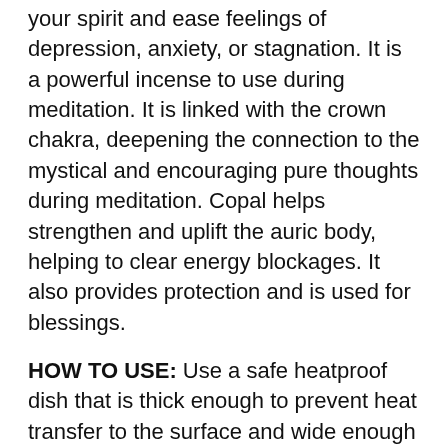your spirit and ease feelings of depression, anxiety, or stagnation. It is a powerful incense to use during meditation. It is linked with the crown chakra, deepening the connection to the mystical and encouraging pure thoughts during meditation. Copal helps strengthen and uplift the auric body, helping to clear energy blockages. It also provides protection and is used for blessings.
HOW TO USE: Use a safe heatproof dish that is thick enough to prevent heat transfer to the surface and wide enough to catch any stray sparks. A stone bowl filled with sand would be a good choice. If you use a metal incense burner, place a wood coaster or cloth underneath it to avoid scorching your table/altar.
Next, place a small lit charcoal tablet on top of the sand. Charcoal ignites with a lighter flick, but be careful as lit charcoal can reach 1200 degrees Fahrenheit! Hold one